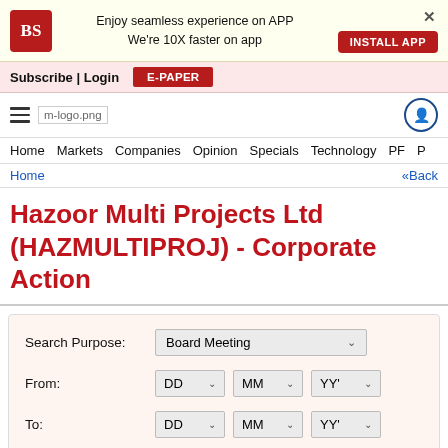[Figure (screenshot): Business Standard app install banner with red BS logo, text 'Enjoy seamless experience on APP We're 10X faster on app', INSTALL APP button, and close X]
Subscribe | Login   E-PAPER
[Figure (logo): Business Standard mobile site navigation bar with hamburger menu, m-logo.png placeholder, and user account icon]
Home  Markets  Companies  Opinion  Specials  Technology  PF  P
Home  «Back
Hazoor Multi Projects Ltd (HAZMULTIPROJ) - Corporate Action
Search Purpose: Board Meeting  From: DD MM YY'  To: DD MM YY'  Submit